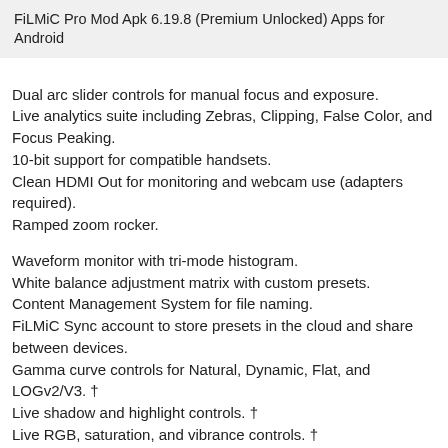FiLMiC Pro Mod Apk 6.19.8 (Premium Unlocked) Apps for Android
Dual arc slider controls for manual focus and exposure.
Live analytics suite including Zebras, Clipping, False Color, and Focus Peaking.
10-bit support for compatible handsets.
Clean HDMI Out for monitoring and webcam use (adapters required).
Ramped zoom rocker.
Waveform monitor with tri-mode histogram.
White balance adjustment matrix with custom presets.
Content Management System for file naming.
FiLMiC Sync account to store presets in the cloud and share between devices.
Gamma curve controls for Natural, Dynamic, Flat, and LOGv2/V3. †
Live shadow and highlight controls. †
Live RGB, saturation, and vibrance controls. †
Foundation Features:
Standard, manual, and hybrid shooting modes. A shooting style for